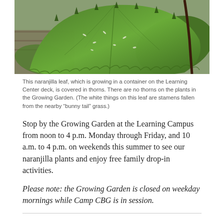[Figure (photo): Close-up photograph of a green naranjilla leaf covered in thorns, with a stem visible and another leaf in the background.]
This naranjilla leaf, which is growing in a container on the Learning Center deck, is covered in thorns. There are no thorns on the plants in the Growing Garden. (The white things on this leaf are stamens fallen from the nearby “bunny tail” grass.)
Stop by the Growing Garden at the Learning Campus from noon to 4 p.m. Monday through Friday, and 10 a.m. to 4 p.m. on weekends this summer to see our naranjilla plants and enjoy free family drop-in activities.
Please note: the Growing Garden is closed on weekday mornings while Camp CBG is in session.